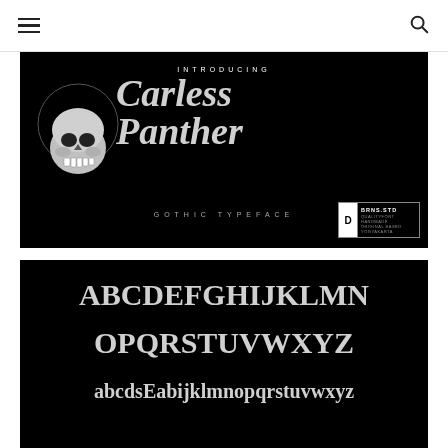☰  🔍
[Figure (illustration): Dark promotional banner for 'Carless Panther Gothic Typeface' font. Black background with a gothic skull illustration on the left, and the text 'INTRODUCING' at the top, 'Carless Panther' in large gothic lettering in the center-right, 'GOTHIC TYPEFACE' below, and a small badge in the bottom-right corner reading 'D | BRNS.STD QUALITYFONT HANDMADE ORIGINAL BASED YOGYAKARTA'.]
[Figure (illustration): Font specimen banner on black background showing uppercase gothic alphabet 'ABCDEFGHIJKLMN OPQRSTUVWXYZ' and beginning of lowercase alphabet 'abcdsEabijklmnopqrstuvwxyz'.]